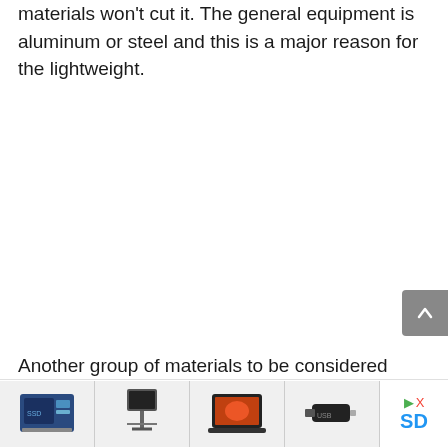materials won't cut it. The general equipment is aluminum or steel and this is a major reason for the lightweight.
Another group of materials to be considered
[Figure (other): Advertisement banner at the bottom of the page showing product images (SSD drive, monitor stand, laptop, USB drive) and an SD label with DX marker]